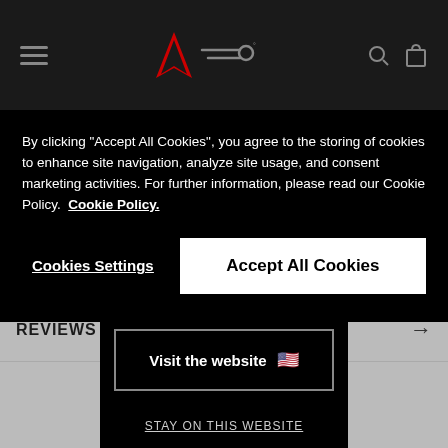Dainese navigation bar with hamburger menu, logo, and icons
By clicking "Accept All Cookies", you agree to the storing of cookies to enhance site navigation, analyze site usage, and consent marketing activities. For further information, please read our Cookie Policy. Cookie Policy.
Cookies Settings
Accept All Cookies
MATERIAL AN →
COMPLETE T →
SIZE GUIDE →
REVIEWS →
Visit the website 🇺🇸
STAY ON THIS WEBSITE